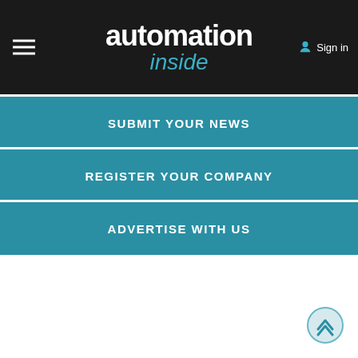automation inside | Sign in
SUBMIT YOUR NEWS
REGISTER YOUR COMPANY
ADVERTISE WITH US